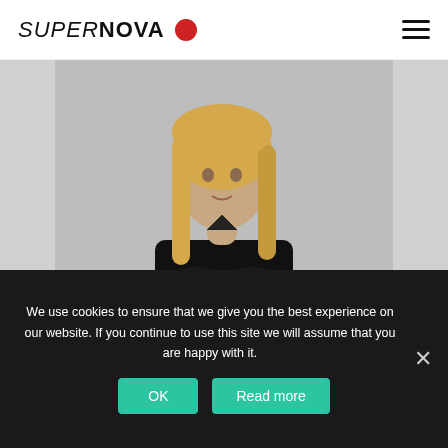SUPERNOVA [logo]
[Figure (photo): Portrait photo of Karmen Roglič, a woman with blonde hair wearing a black outfit, arms crossed, against a light grey background.]
Karmen Roglič
Leasing & Center Management
We use cookies to ensure that we give you the best experience on our website. If you continue to use this site we will assume that you are happy with it.